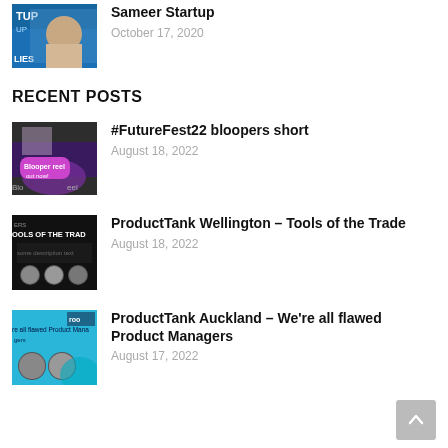[Figure (photo): Thumbnail image of a man with startup-themed background, partially visible, showing 'STARTUP' and 'LIES' text]
Sameer Startup
October 17, 2020
RECENT POSTS
[Figure (photo): Thumbnail of a woman with text overlay 'Blooper reel out now' and partial text 'Blo... eel']
#FutureFest22 bloopers short
August 18, 2022
[Figure (photo): Thumbnail with dark background showing 'TOOLS OF THE TRADE' text with speaker photos]
ProductTank Wellington – Tools of the Trade
August 18, 2022
[Figure (photo): Thumbnail with cyan/blue background showing 'We're all flawed Product Managers' text with speaker photos and 'roo' logo]
ProductTank Auckland – We're all flawed Product Managers
August 17, 2022